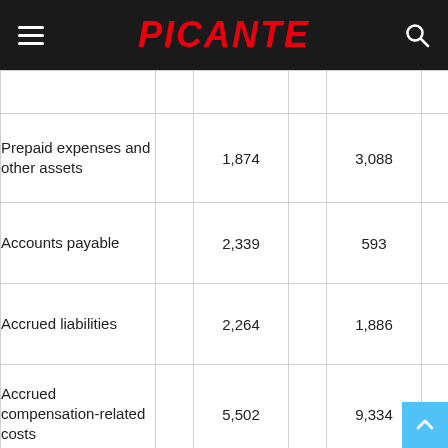PICANTE
|  |  |  |  |  |  |
| --- | --- | --- | --- | --- | --- |
|  |  |  |  |  |  |
| Prepaid expenses and other assets |  | 1,874 |  | 3,088 |  |
| Accounts payable |  | 2,339 |  | 593 |  |
| Accrued liabilities |  | 2,264 |  | 1,886 |  |
| Accrued compensation-related costs |  | 5,502 |  | 9,334 |  |